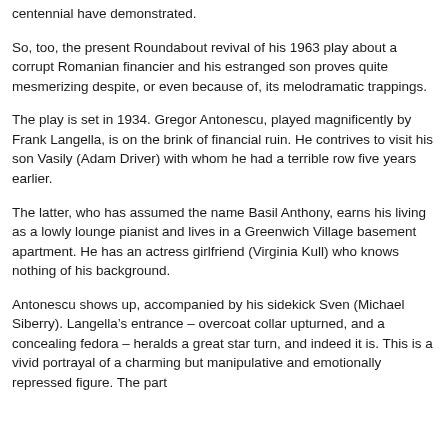centennial have demonstrated.
So, too, the present Roundabout revival of his 1963 play about a corrupt Romanian financier and his estranged son proves quite mesmerizing despite, or even because of, its melodramatic trappings.
The play is set in 1934. Gregor Antonescu, played magnificently by Frank Langella, is on the brink of financial ruin. He contrives to visit his son Vasily (Adam Driver) with whom he had a terrible row five years earlier.
The latter, who has assumed the name Basil Anthony, earns his living as a lowly lounge pianist and lives in a Greenwich Village basement apartment. He has an actress girlfriend (Virginia Kull) who knows nothing of his background.
Antonescu shows up, accompanied by his sidekick Sven (Michael Siberry). Langella’s entrance – overcoat collar upturned, and a concealing fedora – heralds a great star turn, and indeed it is. This is a vivid portrayal of a charming but manipulative and emotionally repressed figure. The part